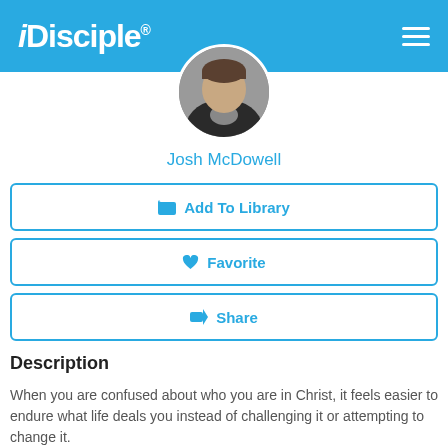iDisciple
[Figure (photo): Circular profile photo of Josh McDowell, a man wearing a dark jacket]
Josh McDowell
Add To Library
Favorite
Share
Description
When you are confused about who you are in Christ, it feels easier to endure what life deals you instead of challenging it or attempting to change it.